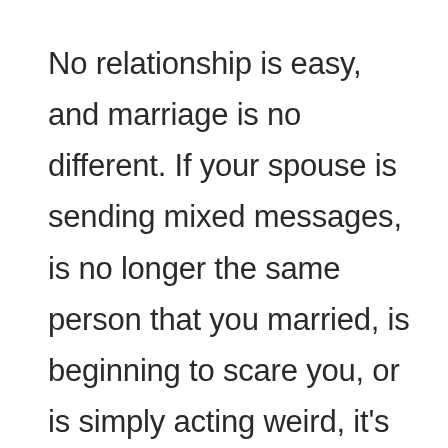No relationship is easy, and marriage is no different. If your spouse is sending mixed messages, is no longer the same person that you married, is beginning to scare you, or is simply acting weird, it's probably time to consult with an experienced Texas divorce lawyer. Divorce attorneys often offer...